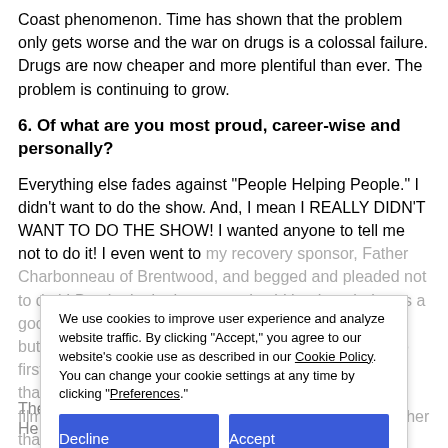Coast phenomenon. Time has shown that the problem only gets worse and the war on drugs is a colossal failure. Drugs are now cheaper and more plentiful than ever. The problem is continuing to grow.
6. Of what are you most proud, career-wise and personally?
Everything else fades against "People Helping People." I didn't want to do the show. And, I mean I REALLY DIDN'T WANT TO DO THE SHOW! I wanted anyone to tell me not to do it! I even went to my recovery sponsor, Father Charbonneau of Brentwood, and begged and pleaded not to do it! But, he looked at me and said he thought it was a good idea. I had just come off a relapse when it began, but he said "Good. So you can talk about relapse in the first person." Then I reminded him of AA's 11th tradition that calls for anonymity at the level of press, radio and film. But, he said I wouldn't be representing anything other than myself, and "Besides. The only requirement for membership is the desire to stay sober."
Then he added: "I think it will keep YOU sober."
He was right.